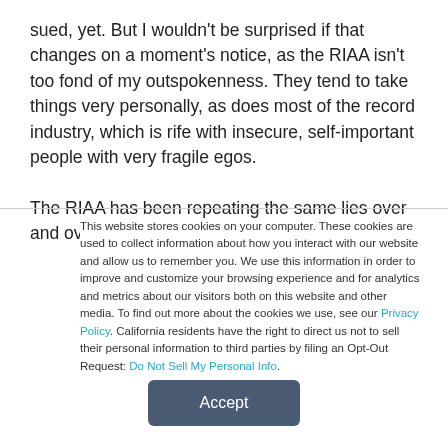sued, yet. But I wouldn't be surprised if that changes on a moment's notice, as the RIAA isn't too fond of my outspokenness. They tend to take things very personally, as does most of the record industry, which is rife with insecure, self-important people with very fragile egos.

The RIAA has been repeating the same lies over and over so
This website stores cookies on your computer. These cookies are used to collect information about how you interact with our website and allow us to remember you. We use this information in order to improve and customize your browsing experience and for analytics and metrics about our visitors both on this website and other media. To find out more about the cookies we use, see our Privacy Policy. California residents have the right to direct us not to sell their personal information to third parties by filing an Opt-Out Request: Do Not Sell My Personal Info.
Accept